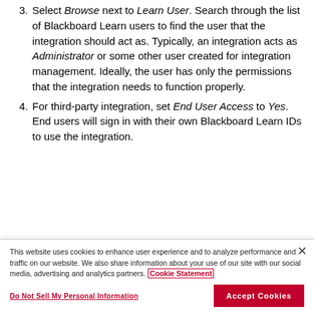3. Select Browse next to Learn User. Search through the list of Blackboard Learn users to find the user that the integration should act as. Typically, an integration acts as Administrator or some other user created for integration management. Ideally, the user has only the permissions that the integration needs to function properly.
4. For third-party integration, set End User Access to Yes. End users will sign in with their own Blackboard Learn IDs to use the integration.
This website uses cookies to enhance user experience and to analyze performance and traffic on our website. We also share information about your use of our site with our social media, advertising and analytics partners. Cookie Statement
Do Not Sell My Personal Information | Accept Cookies